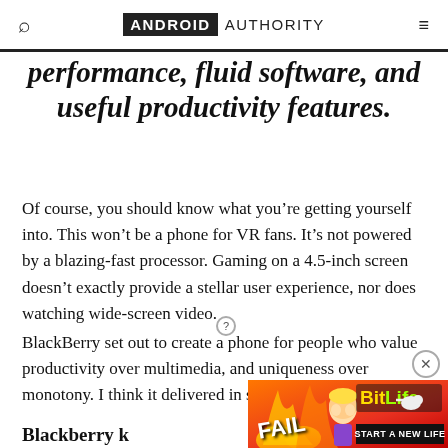ANDROID AUTHORITY
performance, fluid software, and useful productivity features.
Of course, you should know what you’re getting yourself into. This won’t be a phone for VR fans. It’s not powered by a blazing-fast processor. Gaming on a 4.5-inch screen doesn’t exactly provide a stellar user experience, nor does watching wide-screen video.
BlackBerry set out to create a phone for people who value productivity over multimedia, and uniqueness over monotony. I think it delivered in spades.
Blackberry k
[Figure (screenshot): Advertisement overlay for BitLife mobile game showing a cartoon character, flames, FAIL text, BitLife logo, and START A NEW LIFE tagline on a red/orange background]